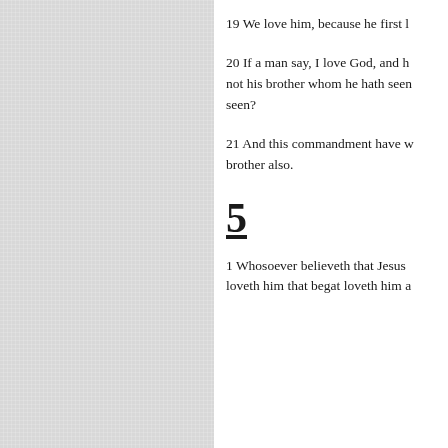19 We love him, because he first l
20 If a man say, I love God, and h not his brother whom he hath seen seen?
21 And this commandment have w brother also.
5
1 Whosoever believeth that Jesus loveth him that begat loveth him a